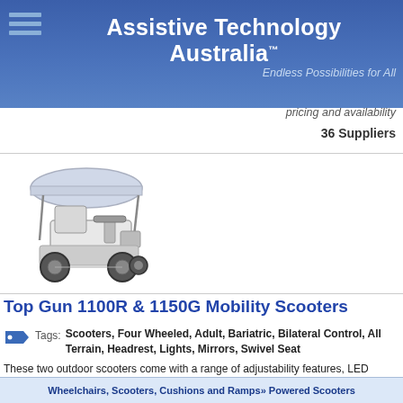Assistive Technology Australia™ — Endless Possibilities for All
pricing and availability
36 Suppliers
[Figure (photo): Photo of Top Gun mobility scooter with canopy roof]
Top Gun 1100R & 1150G Mobility Scooters
Tags: Scooters, Four Wheeled, Adult, Bariatric, Bilateral Control, All Terrain, Headrest, Lights, Mirrors, Swivel Seat
These two outdoor scooters come with a range of adjustability features, LED lighting, headrest, canopy roof, and storage compartment. Various colours are available. One model can support a user up to 250kgs.
See Full Product Details ➔
Wheelchairs, Scooters, Cushions and Ramps» Powered Scooters